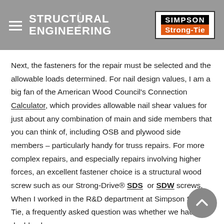STRUCTURAL ENGINEERING BLOG — Simpson Strong-Tie
Next, the fasteners for the repair must be selected and the allowable loads determined. For nail design values, I am a big fan of the American Wood Council's Connection Calculator, which provides allowable nail shear values for just about any combination of main and side members that you can think of, including OSB and plywood side members – particularly handy for truss repairs. For more complex repairs, and especially repairs involving higher forces, an excellent fastener choice is a structural wood screw such as our Strong-Drive® SDS or SDW screws. When I worked in the R&D department at Simpson Strong-Tie, a frequently asked question was whether we had double-shear